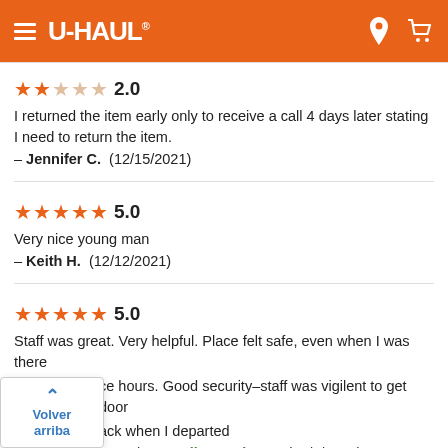U-HAUL
2.0 — I returned the item early only to receive a call 4 days later stating I need to return the item. — Jennifer C. (12/15/2021)
5.0 — Very nice young man — Keith H. (12/12/2021)
5.0 — Staff was great. Very helpful. Place felt safe, even when I was there after hours. Good security–staff was vigilent to get door back when I departed — M. | Overall Experience (12/1/2021)